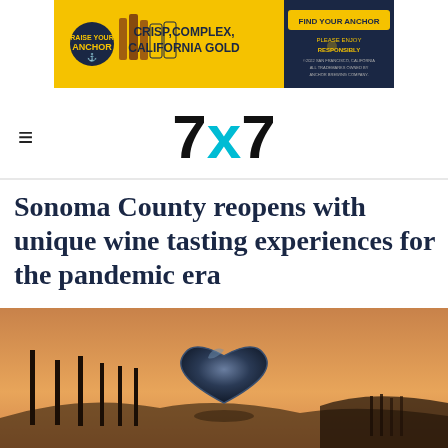[Figure (photo): Anchor Brewing advertisement banner. Yellow background with beer bottles on left side reading 'RAISE YOUR ANCHOR', center text 'CRISP, COMPLEX, CALIFORNIA GOLD', right side dark panel with 'FIND YOUR ANCHOR' button and 'PLEASE ENJOY RESPONSIBLY' text.]
7x7
Sonoma County reopens with unique wine tasting experiences for the pandemic era
[Figure (photo): Hero photograph of a large reflective metallic heart sculpture against a golden sunset sky, with silhouettes of poles/posts in the background and rolling hills on the horizon.]